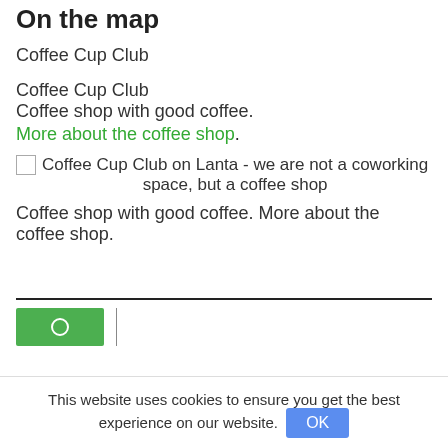On the map
Coffee Cup Club
Coffee Cup Club
Coffee shop with good coffee.
More about the coffee shop.
[Figure (photo): Broken image placeholder with caption: Coffee Cup Club on Lanta - we are not a coworking space, but a coffee shop]
Coffee Cup Club on Lanta - we are not a coworking space, but a coffee shop
Coffee shop with good coffee. More about the coffee shop.
[Figure (screenshot): Green button with person/search icon and vertical divider line, part of a website UI]
This website uses cookies to ensure you get the best experience on our website.